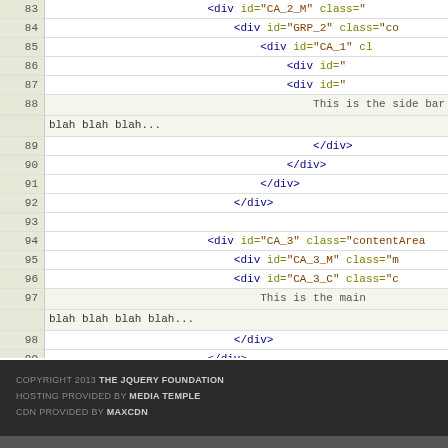[Figure (screenshot): Code editor screenshot showing HTML source lines 83-102 with syntax highlighting. Line numbers in gutter, code in beige background. Tags in dark blue, attribute names in olive/yellow, attribute values in orange/brown. Lines 88 and 97 show wrapped text content. Lines 101-102 show closing body and html tags.]
Downloa...
COPYRIGHT 2013 THE JQUERY FOUNDATION
HOSTING PROVIDED BY MEDIA TEMPLE
CDN PROVIDED BY MAXCDN